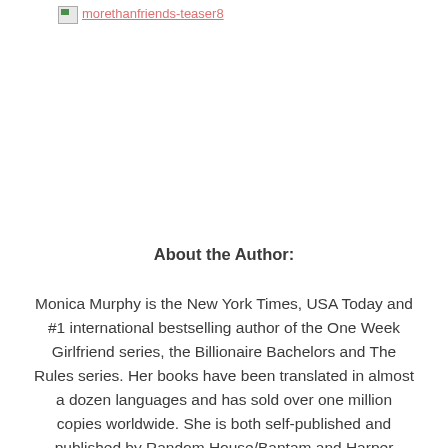[Figure (other): Broken image placeholder with link text 'morethanfriends-teaser8' shown in coral/red underlined text]
About the Author:
Monica Murphy is the New York Times, USA Today and #1 international bestselling author of the One Week Girlfriend series, the Billionaire Bachelors and The Rules series. Her books have been translated in almost a dozen languages and has sold over one million copies worldwide. She is both self-published and published by Random House/Bantam and Harper Collins/Avon. She